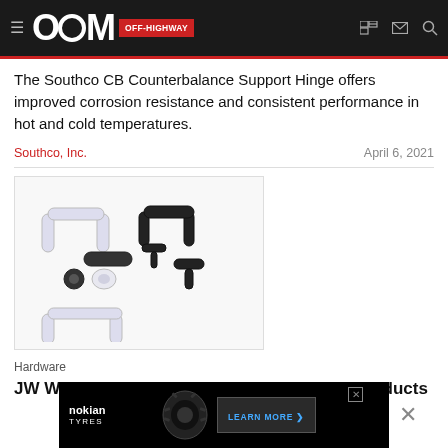OEM OFF-HIGHWAY
The Southco CB Counterbalance Support Hinge offers improved corrosion resistance and consistent performance in hot and cold temperatures.
Southco, Inc.
April 6, 2021
[Figure (photo): Various hardware components including white and black handles, knobs, and fasteners arranged on a white background]
Hardware
JW Winco Sanline Antibacterial Hardware Products